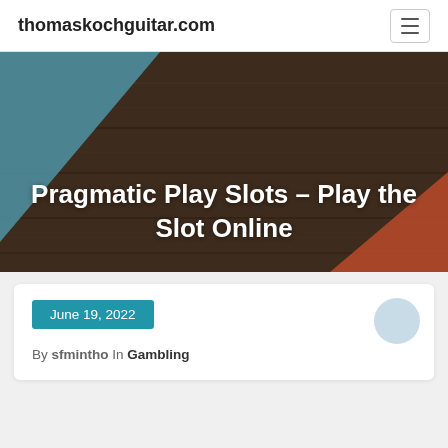thomaskochguitar.com
[Figure (photo): Hero banner image showing a dark wooden texture background with teal/blue and orange decorative shapes in the corners, with white overlaid article title text.]
Pragmatic Play Slots – Play the Slot Online
June 19, 2022
By sfmintho In Gambling